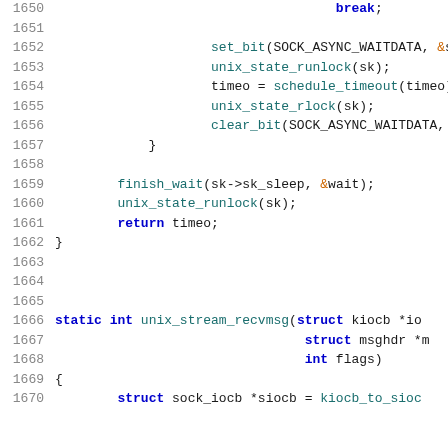[Figure (screenshot): Source code listing showing C code for unix socket stream functions, lines 1650-1670, with syntax highlighting. Line numbers in gray on left, keywords in blue/bold, function names in teal, special symbols in orange.]